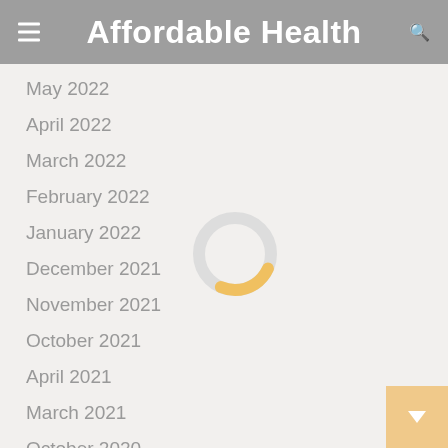Affordable Health
May 2022
April 2022
March 2022
February 2022
January 2022
December 2021
November 2021
October 2021
April 2021
March 2021
October 2020
June 2020
[Figure (other): Loading spinner / donut-shaped loading indicator with golden-yellow arc on light gray circle, positioned in center of page over the list items]